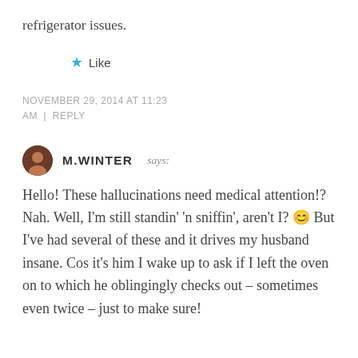refrigerator issues.
★ Like
NOVEMBER 29, 2014 AT 11:23 AM | REPLY
M.WINTER says:
Hello! These hallucinations need medical attention!? Nah. Well, I'm still standin' 'n sniffin', aren't I? 😊 But I've had several of these and it drives my husband insane. Cos it's him I wake up to ask if I left the oven on to which he oblingingly checks out – sometimes even twice – just to make sure!